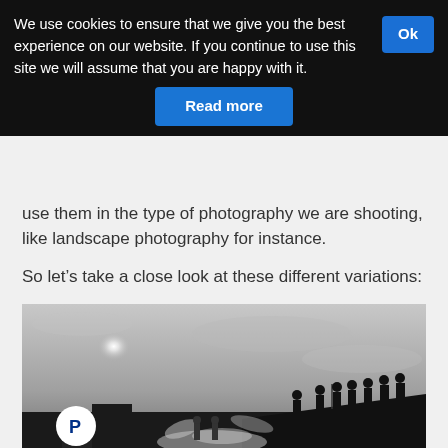We use cookies to ensure that we give you the best experience on our website. If you continue to use this site we will assume that you are happy with it.
Ok
Read more
use them in the type of photography we are shooting, like landscape photography for instance.
So let’s take a close look at these different variations:
[Figure (photo): Black and white photograph of silhouettes of people standing on a rooftop against a bright sun in a hazy sky, with water spray visible in the lower portion. A PayPal logo badge is overlaid in the lower left corner.]